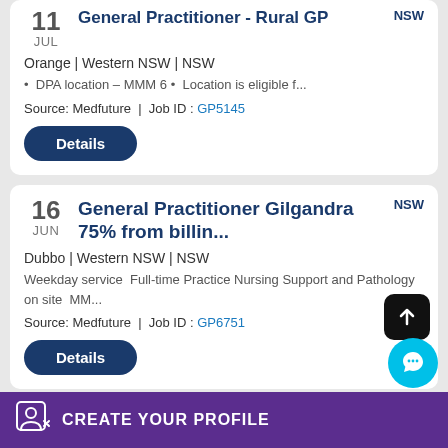General Practitioner - Rural GP
11 JUL
NSW
Orange | Western NSW | NSW
DPA location – MMM 6
Location is eligible f...
Source: Medfuture  |  Job ID : GP5145
Details
General Practitioner Gilgandra 75% from billin...
16 JUN
NSW
Dubbo | Western NSW | NSW
Weekday service  Full-time Practice Nursing Support and Pathology on site  MM...
Source: Medfuture  |  Job ID : GP6751
Details
CREATE YOUR PROFILE